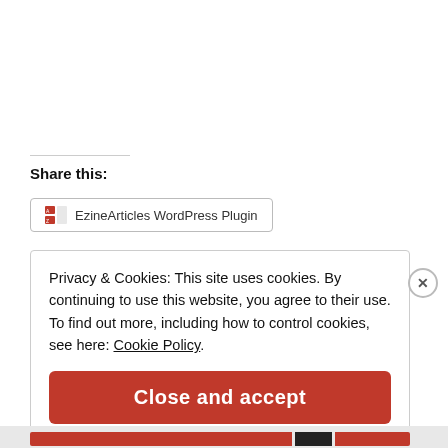Share this:
[Figure (other): EzineArticles WordPress Plugin button with icon]
Privacy & Cookies: This site uses cookies. By continuing to use this website, you agree to their use. To find out more, including how to control cookies, see here: Cookie Policy
Close and accept